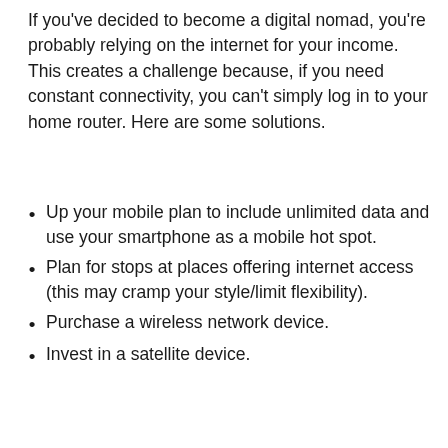If you've decided to become a digital nomad, you're probably relying on the internet for your income. This creates a challenge because, if you need constant connectivity, you can't simply log in to your home router. Here are some solutions.
Up your mobile plan to include unlimited data and use your smartphone as a mobile hot spot.
Plan for stops at places offering internet access (this may cramp your style/limit flexibility).
Purchase a wireless network device.
Invest in a satellite device.